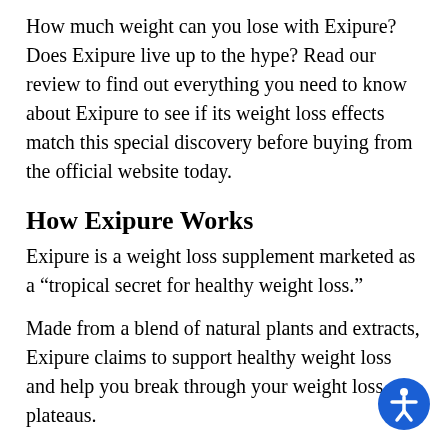How much weight can you lose with Exipure? Does Exipure live up to the hype? Read our review to find out everything you need to know about Exipure to see if its weight loss effects match this special discovery before buying from the official website today.
How Exipure Works
Exipure is a weight loss supplement marketed as a “tropical secret for healthy weight loss.”
Made from a blend of natural plants and extracts, Exipure claims to support healthy weight loss and help you break through your weight loss plateaus.
Each bottle of Exipure contains 30 capsules. The manufacturer recommends taking one capsule to help you lose weight.